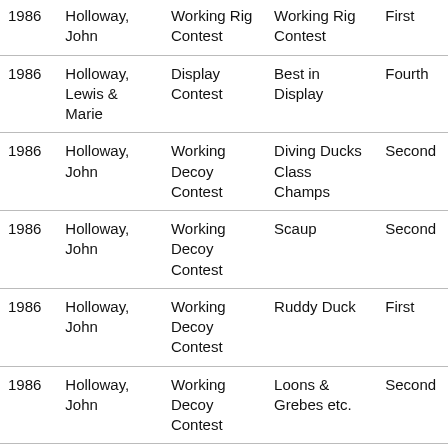| 1986 | Holloway, John | Working Rig Contest | Working Rig Contest | First |
| 1986 | Holloway, Lewis & Marie | Display Contest | Best in Display | Fourth |
| 1986 | Holloway, John | Working Decoy Contest | Diving Ducks Class Champs | Second |
| 1986 | Holloway, John | Working Decoy Contest | Scaup | Second |
| 1986 | Holloway, John | Working Decoy Contest | Ruddy Duck | First |
| 1986 | Holloway, John | Working Decoy Contest | Loons & Grebes etc. | Second |
| 1987 | Holloway, John | Working Rig Contest | Working Shorebird Rig | First |
| 1988 | Holloway, John | Barnegat Bay Working… | Marsh Ducks – Black Duck… | Second |